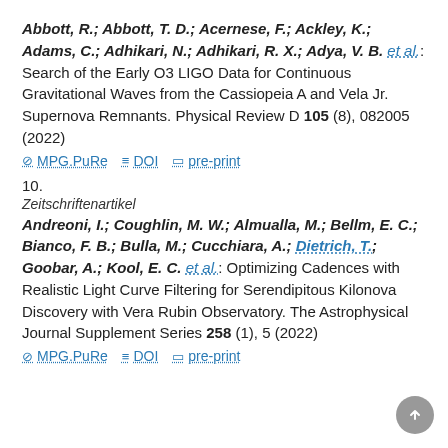Abbott, R.; Abbott, T. D.; Acernese, F.; Ackley, K.; Adams, C.; Adhikari, N.; Adhikari, R. X.; Adya, V. B. et al.: Search of the Early O3 LIGO Data for Continuous Gravitational Waves from the Cassiopeia A and Vela Jr. Supernova Remnants. Physical Review D 105 (8), 082005 (2022)
MPG.PuRe   DOI   pre-print
10.
Zeitschriftenartikel
Andreoni, I.; Coughlin, M. W.; Almualla, M.; Bellm, E. C.; Bianco, F. B.; Bulla, M.; Cucchiara, A.; Dietrich, T.; Goobar, A.; Kool, E. C. et al.: Optimizing Cadences with Realistic Light Curve Filtering for Serendipitous Kilonova Discovery with Vera Rubin Observatory. The Astrophysical Journal Supplement Series 258 (1), 5 (2022)
MPG.PuRe   DOI   pre-print